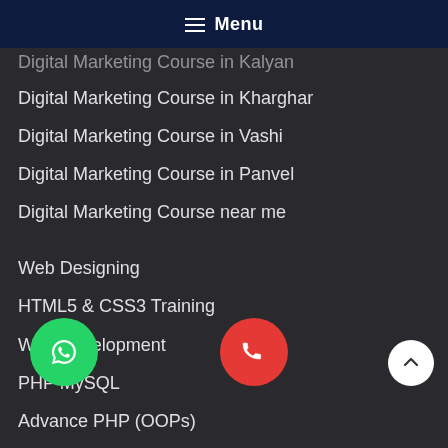Menu
Digital Marketing Course in Kalyan
Digital Marketing Course in Kharghar
Digital Marketing Course in Vashi
Digital Marketing Course in Panvel
Digital Marketing Course near me
Web Designing
HTML5 & CSS3 Training
Web Development
PHP MySQL
Advance PHP (OOPs)
Codeigniter Framework
Basic Networking
Cisco Certification
Certification
Certification
CCIF Certification